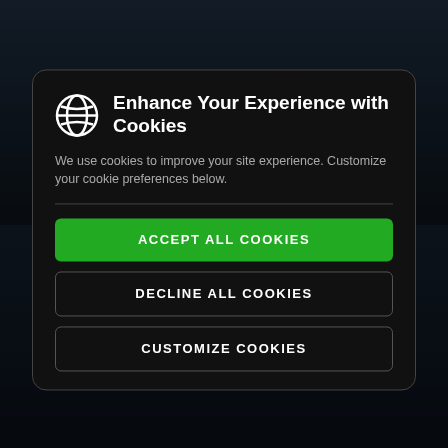[Figure (screenshot): Blurred website background showing a motorsport/racing theme with red shapes at top and Silverstone circuit logo at bottom with text 'SILVERSTONE' and 'CIRCA 2008']
Enhance Your Experience with Cookies
We use cookies to improve your site experience. Customize your cookie preferences below.
ACCEPT ALL COOKIES
DECLINE ALL COOKIES
CUSTOMIZE COOKIES